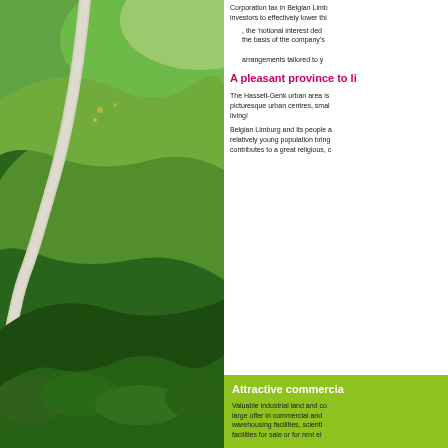[Figure (photo): Aerial/landscape photo of rolling green hills with a winding white road/path cutting through them, with trees in the foreground]
Corporation tax in Belgian Limburg investors to effectively lower thi
, the 'notional interest ded the basis of the company's arrangements tailored to y
A pleasant province to li
The Hasselt-Genk urban area is picturesque urban centres, smal living!
Belgian Limburg and its people a relatively young population bring contributes to a great religious, c
Attractive commercia
Valuable industrial land and co large offer in commercial and warehousing facilities, scienti facilities for sale or for rent ei